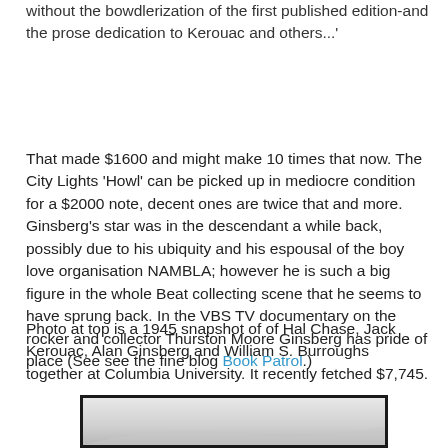without the bowdlerization of the first published edition-and the prose dedication to Kerouac and others...'
That made $1600 and might make 10 times that now. The City Lights 'Howl' can be picked up in mediocre condition for a $2000 note, decent ones are twice that and more. Ginsberg's star was in the descendant a while back, possibly due to his ubiquity and his espousal of the boy love organisation NAMBLA; however he is such a big figure in the whole Beat collecting scene that he seems to have sprung back. In the VBS TV documentary on the rocker and collector Thurston Moore Ginsberg has pride of place (See see the fine blog Book Patrol.)
Photo at top is a 1945 snapshot of of Hal Chase, Jack Kerouac, Alan Ginsberg and William S. Burroughs together at Columbia University. It recently fetched $7,745.
[Figure (photo): Partial view of a vintage photograph, showing a light-colored rectangular photo with a dark border, partially visible at the bottom of the page.]